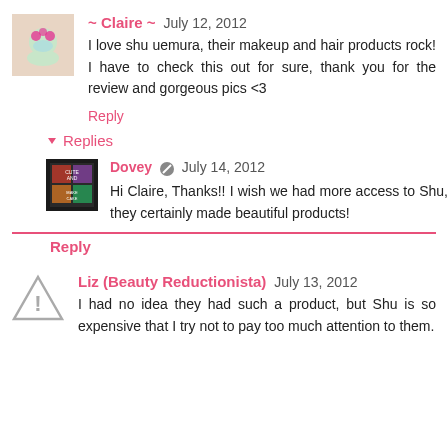[Figure (photo): Avatar image of Claire showing flowers/decorative image]
~ Claire ~ July 12, 2012
I love shu uemura, their makeup and hair products rock! I have to check this out for sure, thank you for the review and gorgeous pics <3
Reply
Replies
[Figure (photo): Avatar image of Dovey showing makeup palette]
Dovey July 14, 2012
Hi Claire, Thanks!! I wish we had more access to Shu, they certainly made beautiful products!
Reply
[Figure (illustration): Warning/alert triangle icon placeholder avatar]
Liz (Beauty Reductionista) July 13, 2012
I had no idea they had such a product, but Shu is so expensive that I try not to pay too much attention to them.